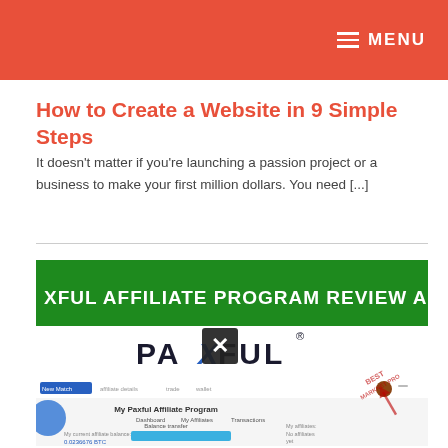MENU
How to Create a Website in 9 Simple Steps
It doesn't matter if you're launching a passion project or a business to make your first million dollars. You need [...]
[Figure (screenshot): Screenshot of Paxful Affiliate Program Review and Proof page, showing the Paxful logo, navigation bar, My Paxful Affiliate Program panel with balance transfer and affiliates info, overlaid with a close button (X), and a watermark arrow in the corner.]